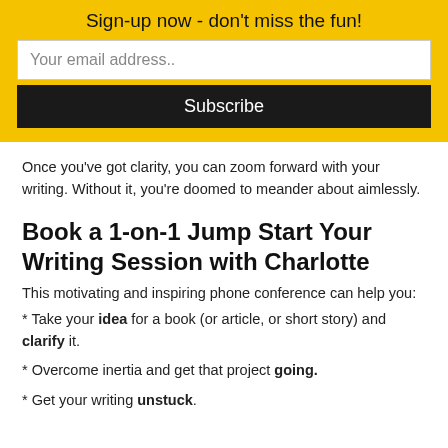Sign-up now - don't miss the fun!
Your email address..
Subscribe
Once you've got clarity, you can zoom forward with your writing. Without it, you're doomed to meander about aimlessly.
Book a 1-on-1 Jump Start Your Writing Session with Charlotte
This motivating and inspiring phone conference can help you:
* Take your idea for a book (or article, or short story) and clarify it.
* Overcome inertia and get that project going.
* Get your writing unstuck.